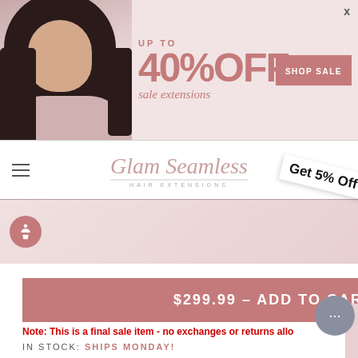[Figure (screenshot): Banner advertisement for Glam Seamless Hair Extensions showing a model with long dark hair, text 'UP TO 40% OFF sale extensions' and a 'SHOP SALE' button]
x
[Figure (logo): Glam Seamless Hair Extensions logo in script font with tagline HAIR EXTENSIONS]
Get 5% Off
[Figure (infographic): Pink/mauve navigation strip with accessibility icon (person in circle)]
$299.99 - ADD TO CART
Note: This is a final sale item - no exchanges or returns allo
IN STOCK: SHIPS MONDAY!